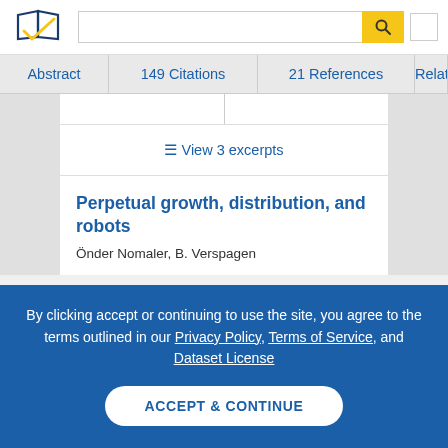[Figure (logo): Semantic Scholar logo — stylized open book with blue and gold checkmark]
Abstract | 149 Citations | 21 References | Related P…
≡ View 3 excerpts
Perpetual growth, distribution, and robots
Önder Nomaler, B. Verspagen
By clicking accept or continuing to use the site, you agree to the terms outlined in our Privacy Policy, Terms of Service, and Dataset License
ACCEPT & CONTINUE